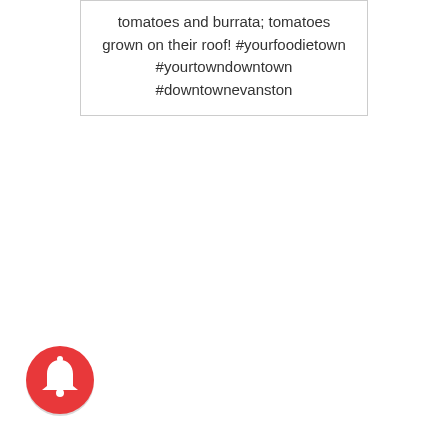tomatoes and burrata; tomatoes grown on their roof! #yourfoodietown #yourtowndowntown #downtownevanston
[Figure (other): Red circular notification bell button icon in the bottom-left corner]